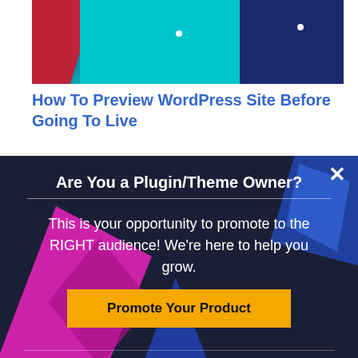[Figure (screenshot): Website banner with dark navy, cyan, and red sections with white dots]
How To Preview WordPress Site Before Going To Live
[Figure (infographic): Dark modal popup with geometric magenta and blue shapes in background]
Are You a Plugin/Theme Owner?
This is your opportunity to promote to the RIGHT audience! We're here to help you grow.
Promote Your Product